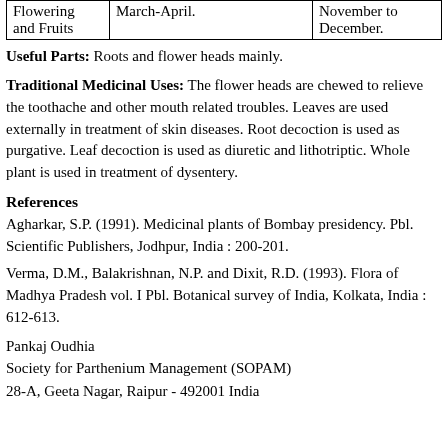| Flowering and Fruits |  |  |
| --- | --- | --- |
| Flowering and Fruits | March-April. | November to December. |
Useful Parts: Roots and flower heads mainly.
Traditional Medicinal Uses: The flower heads are chewed to relieve the toothache and other mouth related troubles. Leaves are used externally in treatment of skin diseases. Root decoction is used as purgative. Leaf decoction is used as diuretic and lithotriptic. Whole plant is used in treatment of dysentery.
References
Agharkar, S.P. (1991). Medicinal plants of Bombay presidency. Pbl. Scientific Publishers, Jodhpur, India : 200-201.
Verma, D.M., Balakrishnan, N.P. and Dixit, R.D. (1993). Flora of Madhya Pradesh vol. I Pbl. Botanical survey of India, Kolkata, India : 612-613.
Pankaj Oudhia
Society for Parthenium Management (SOPAM)
28-A, Geeta Nagar, Raipur - 492001 India